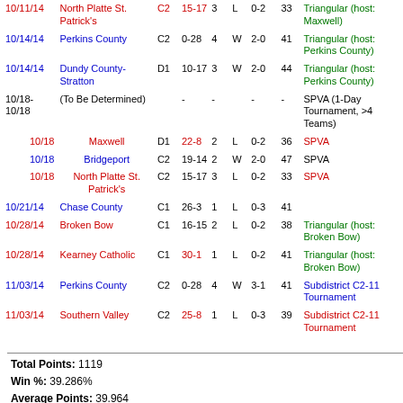| Date | Opponent | Cls | Score | Games | W/L | Record | Pts | Notes |
| --- | --- | --- | --- | --- | --- | --- | --- | --- |
| 10/11/14 | North Platte St. Patrick's | C2 | 15-17 | 3 | L | 0-2 | 33 | Triangular (host: Maxwell) |
| 10/14/14 | Perkins County | C2 | 0-28 | 4 | W | 2-0 | 41 | Triangular (host: Perkins County) |
| 10/14/14 | Dundy County-Stratton | D1 | 10-17 | 3 | W | 2-0 | 44 | Triangular (host: Perkins County) |
| 10/18-10/18 | (To Be Determined) |  | -  | -  |  | - | - | SPVA (1-Day Tournament, >4 Teams) |
| 10/18 | Maxwell | D1 | 22-8 | 2 | L | 0-2 | 36 | SPVA |
| 10/18 | Bridgeport | C2 | 19-14 | 2 | W | 2-0 | 47 | SPVA |
| 10/18 | North Platte St. Patrick's | C2 | 15-17 | 3 | L | 0-2 | 33 | SPVA |
| 10/21/14 | Chase County | C1 | 26-3 | 1 | L | 0-3 | 41 |  |
| 10/28/14 | Broken Bow | C1 | 16-15 | 2 | L | 0-2 | 38 | Triangular (host: Broken Bow) |
| 10/28/14 | Kearney Catholic | C1 | 30-1 | 1 | L | 0-2 | 41 | Triangular (host: Broken Bow) |
| 11/03/14 | Perkins County | C2 | 0-28 | 4 | W | 3-1 | 41 | Subdistrict C2-11 Tournament |
| 11/03/14 | Southern Valley | C2 | 25-8 | 1 | L | 0-3 | 39 | Subdistrict C2-11 Tournament |
Total Points: 1119
Win %: 39.286%
Average Points: 39.964